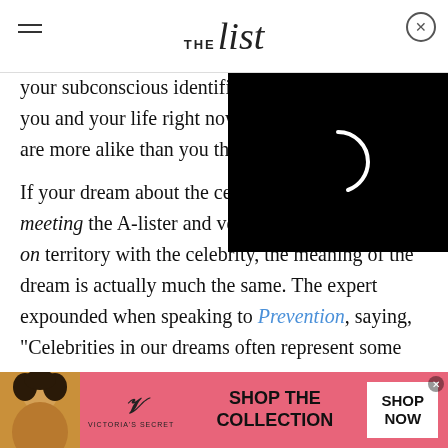THE List
[Figure (screenshot): Black video player overlay with loading spinner (white partial circle) on right side of page]
your subconscious identifies you and your life right now." are more alike than you thou If your dream about the celebrity goes beyond just meeting the A-lister and ventures into the getting it on territory with the celebrity, the meaning of the dream is actually much the same. The expert expounded when speaking to Prevention, saying, "Celebrities in our dreams often represent some part of ourselves we want recognition and applause for. To
[Figure (screenshot): Victoria's Secret advertisement banner in pink/coral with model photo, VS logo, SHOP THE COLLECTION text, and SHOP NOW button]